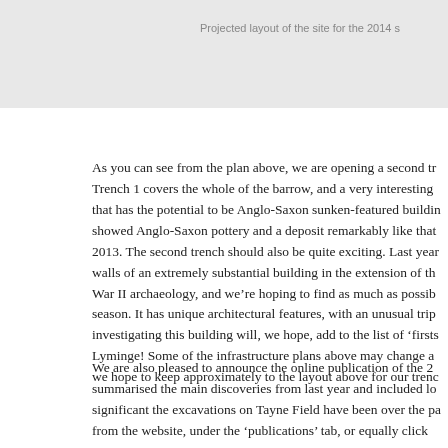Projected layout of the site for the 2014 s
As you can see from the plan above, we are opening a second tr Trench 1 covers the whole of the barrow, and a very interesting that has the potential to be Anglo-Saxon sunken-featured buildin showed Anglo-Saxon pottery and a deposit remarkably like that 2013. The second trench should also be quite exciting. Last year walls of an extremely substantial building in the extension of th War II archaeology, and we’re hoping to find as much as possib season. It has unique architectural features, with an unusual trip investigating this building will, we hope, add to the list of ‘firsts Lyminge! Some of the infrastructure plans above may change a we hope to keep approximately to the layout above for our trenc
We are also pleased to announce the online publication of the 2 summarised the main discoveries from last year and included lo significant the excavations on Tayne Field have been over the pa from the website, under the ‘publications’ tab, or equally click